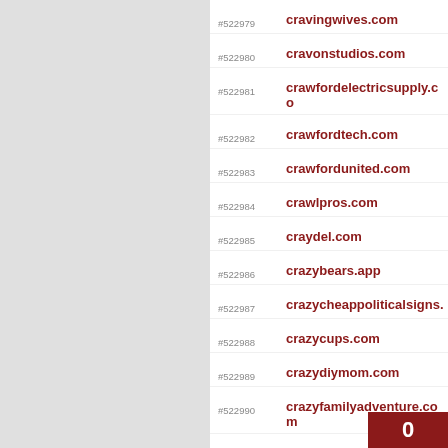#522979 cravingwives.com
#522980 cravonstudios.com
#522981 crawfordelectricsupply.co
#522982 crawfordtech.com
#522983 crawfordunited.com
#522984 crawlpros.com
#522985 craydel.com
#522986 crazybears.app
#522987 crazycheappoliticalsigns.
#522988 crazycups.com
#522989 crazydiymom.com
#522990 crazyfamilyadventure.com
#522991 crazyhorsememo